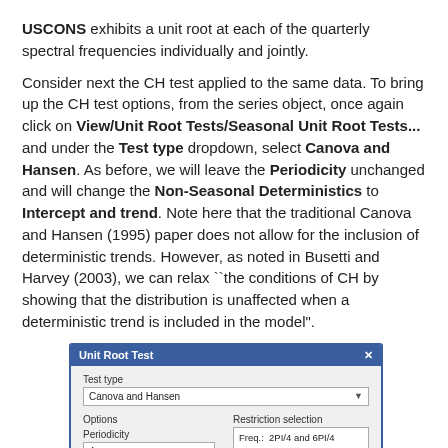USCONS exhibits a unit root at each of the quarterly spectral frequencies individually and jointly.
Consider next the CH test applied to the same data. To bring up the CH test options, from the series object, once again click on View/Unit Root Tests/Seasonal Unit Root Tests... and under the Test type dropdown, select Canova and Hansen. As before, we will leave the Periodicity unchanged and will change the Non-Seasonal Deterministics to Intercept and trend. Note here that the traditional Canova and Hansen (1995) paper does not allow for the inclusion of deterministic trends. However, as noted in Busetti and Harvey (2003), we can relax ``the conditions of CH by showing that the distribution is unaffected when a deterministic trend is included in the model".
[Figure (screenshot): Unit Root Test dialog box showing Test type set to 'Canova and Hansen', Periodicity set to 4, and Restriction selection showing 'Freq.: 2PI/4 and 6PI/4' and 'Freq.: PI'.]